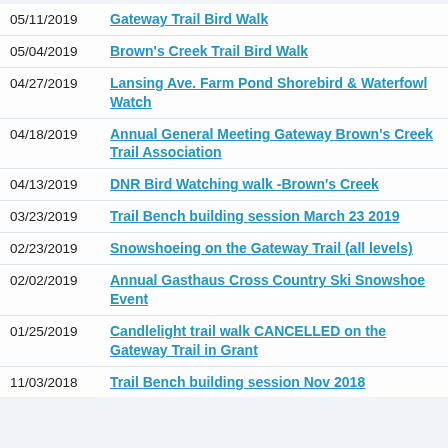05/11/2019 – Gateway Trail Bird Walk
05/04/2019 – Brown's Creek Trail Bird Walk
04/27/2019 – Lansing Ave. Farm Pond Shorebird & Waterfowl Watch
04/18/2019 – Annual General Meeting Gateway Brown's Creek Trail Association
04/13/2019 – DNR Bird Watching walk -Brown's Creek
03/23/2019 – Trail Bench building session March 23 2019
02/23/2019 – Snowshoeing on the Gateway Trail (all levels)
02/02/2019 – Annual Gasthaus Cross Country Ski Snowshoe Event
01/25/2019 – Candlelight trail walk CANCELLED on the Gateway Trail in Grant
11/03/2018 – Trail Bench building session Nov 2018